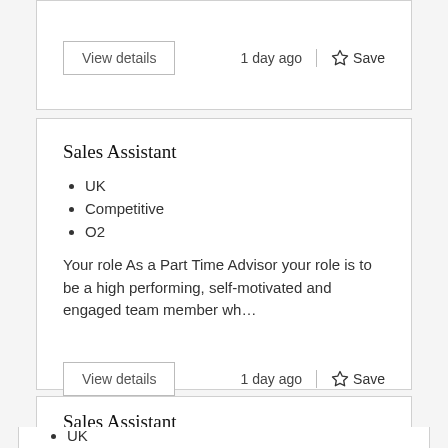View details
1 day ago | Save
Sales Assistant
UK
Competitive
O2
Your role As a Part Time Advisor your role is to be a high performing, self-motivated and engaged team member wh…
View details
1 day ago | Save
Sales Assistant
UK
Competitive